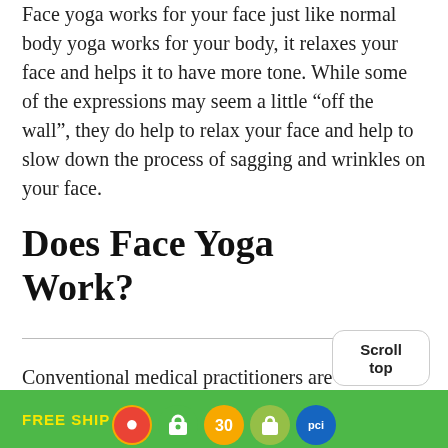Face yoga works for your face just like normal body yoga works for your body, it relaxes your face and helps it to have more tone. While some of the expressions may seem a little “off the wall”, they do help to relax your face and help to slow down the process of sagging and wrinkles on your face.
Does Face Yoga Work?
Conventional medical practitioners are of the opinion that face yoga simply creates
FREE SHIPPING ON ALL ORDERS